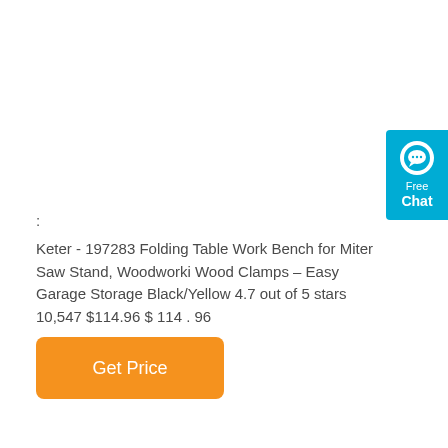[Figure (other): Free Chat widget — teal/cyan rounded button with chat bubble icon, 'Free' text and 'Chat' text in white]
:
Keter - 197283 Folding Table Work Bench for Miter Saw Stand, Woodworki Wood Clamps – Easy Garage Storage Black/Yellow 4.7 out of 5 stars 10,547 $114.96 $ 114 . 96
Get Price